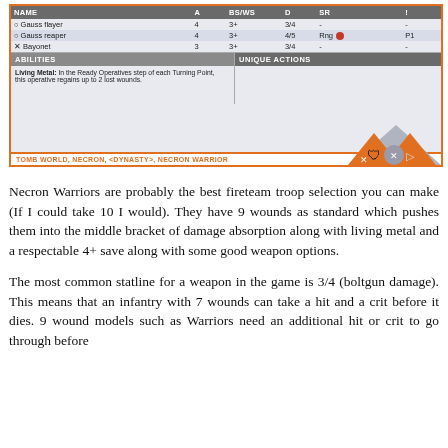| NAME | A | BS/WS | D | SR | ! |
| --- | --- | --- | --- | --- | --- |
| O Gauss flayer | 4 | 3+ | 3/4 | - | - |
| O Gauss reaper | 4 | 3+ | 4/5 | Rng | P1 |
| X Bayonet | 3 | 3+ | 3/4 | - | - |
ABILITIES
UNIQUE ACTIONS
Living Metal: In the Ready Operatives step of each Turning Point, this operative regains up to 2 lost wounds.
TOMB WORLD, NECRON, <DYNASTY>, NECRON WARRIOR
Necron Warriors are probably the best fireteam troop selection you can make (If I could take 10 I would). They have 9 wounds as standard which pushes them into the middle bracket of damage absorption along with living metal and a respectable 4+ save along with some good weapon options.
The most common statline for a weapon in the game is 3/4 (boltgun damage). This means that an infantry with 7 wounds can take a hit and a crit before it dies. 9 wound models such as Warriors need an additional hit or crit to go through before